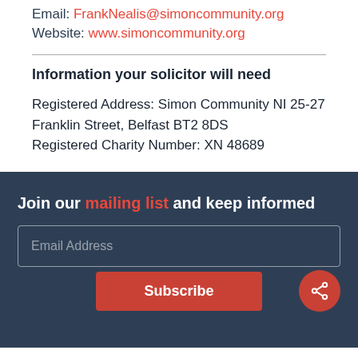Email: FrankNealis@simoncommunity.org
Website: www.simoncommunity.org
Information your solicitor will need
Registered Address: Simon Community NI 25-27 Franklin Street, Belfast BT2 8DS
Registered Charity Number: XN 48689
Join our mailing list and keep informed
Email Address
Subscribe